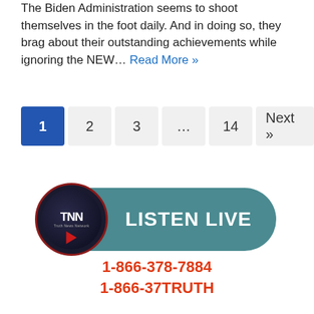The Biden Administration seems to shoot themselves in the foot daily. And in doing so, they brag about their outstanding achievements while ignoring the NEW… Read More »
[Figure (other): Pagination navigation with buttons: 1 (active, blue), 2, 3, ..., 14, Next »]
[Figure (logo): TNN Truth News Network Listen Live banner with circular TNN logo and phone numbers 1-866-378-7884 and 1-866-37TRUTH]